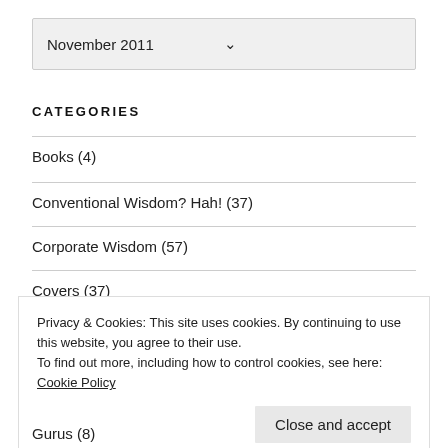November 2011
CATEGORIES
Books (4)
Conventional Wisdom? Hah! (37)
Corporate Wisdom (57)
Covers (37)
Privacy & Cookies: This site uses cookies. By continuing to use this website, you agree to their use.
To find out more, including how to control cookies, see here: Cookie Policy
Close and accept
Gurus (8)